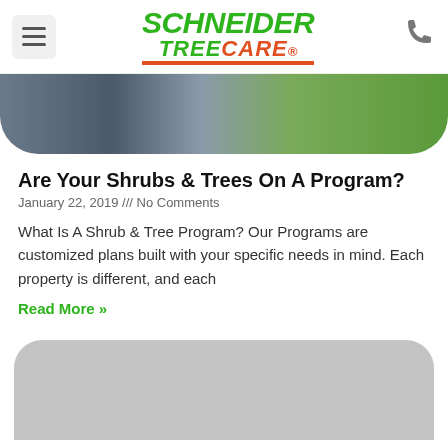Schneider Tree Care
[Figure (photo): Hero image showing a driveway and green shrubs/trees, rounded bottom corners]
Are Your Shrubs & Trees On A Program?
January 22, 2019 /// No Comments
What Is A Shrub & Tree Program? Our Programs are customized plans built with your specific needs in mind. Each property is different, and each
Read More »
[Figure (photo): Gray placeholder card with rounded top corners at bottom of page]